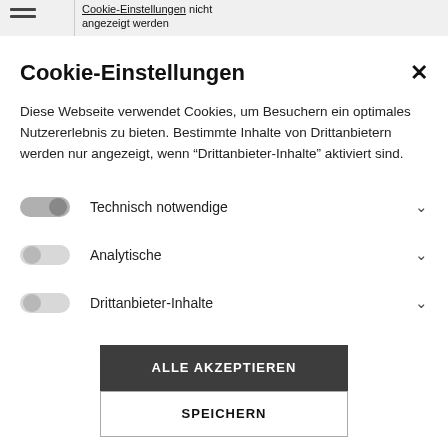Cookie-Einstellungen nicht angezeigt werden
Cookie-Einstellungen
Diese Webseite verwendet Cookies, um Besuchern ein optimales Nutzererlebnis zu bieten. Bestimmte Inhalte von Drittanbietern werden nur angezeigt, wenn "Drittanbieter-Inhalte" aktiviert sind.
Technisch notwendige
Analytische
Drittanbieter-Inhalte
ALLE AKZEPTIEREN
SPEICHERN
Translation of this text about cookie settings